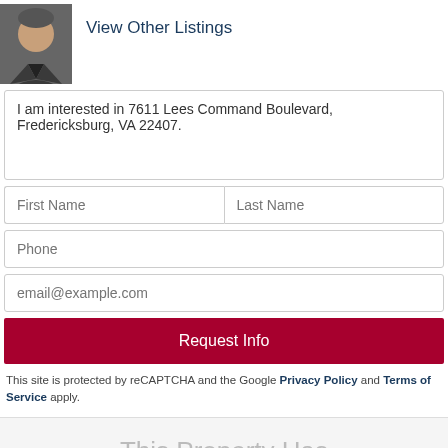[Figure (photo): Agent headshot photo on upper left]
View Other Listings
I am interested in 7611 Lees Command Boulevard, Fredericksburg, VA 22407.
First Name
Last Name
Phone
email@example.com
Request Info
This site is protected by reCAPTCHA and the Google Privacy Policy and Terms of Service apply.
This Property Has
476